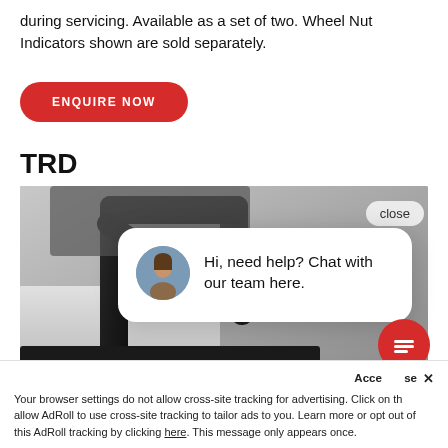during servicing. Available as a set of two. Wheel Nut Indicators shown are sold separately.
ENQUIRE NOW
TRD
[Figure (photo): Photo of a black roll bar / sport bar accessory on a Toyota truck bed, shown in grey/silver tones with a close-up detail view. A chat popup overlay is visible on top of the image.]
close
Hi, need help? Chat with our team here.
Acce se ×
Your browser settings do not allow cross-site tracking for advertising. Click on th allow AdRoll to use cross-site tracking to tailor ads to you. Learn more or opt out of this AdRoll tracking by clicking here. This message only appears once.